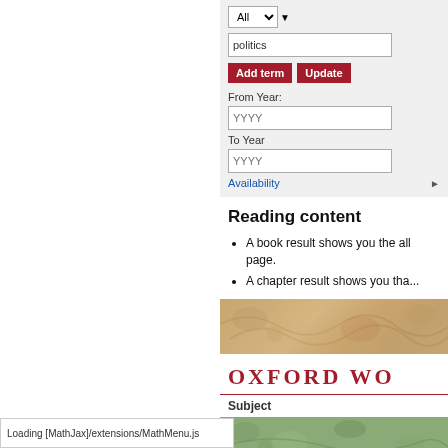[Figure (screenshot): Search form with dropdown set to 'All', text input containing 'politics', Add term and Update buttons, From Year and To Year inputs with YYYY placeholder, and Availability link]
Reading content
A book result shows you the all... page.
A chapter result shows you tha...
[Figure (photo): Decorative book cover banner with floral pattern in warm tan/gold tones]
[Figure (screenshot): Oxford Worlds Classics header with red text and horizontal rule, Subject label, decorative banner]
Back to Results
Loading [MathJax]/extensions/MathMenu.js